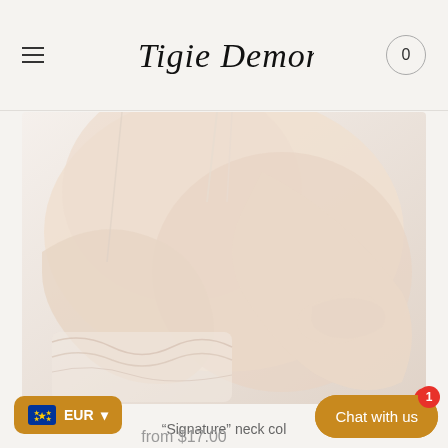Tigie Demon — navigation header with hamburger menu and cart (0)
[Figure (photo): Close-up product photo of a person wearing lace lingerie with thin straps, soft skin tones, light background]
"Signature" neck col...
from $17.00
EUR
Chat with us